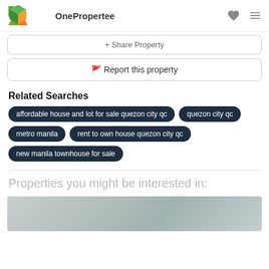OnePropertee
+ Share Property
🚩 Report this property
Related Searches
affordable house and lot for sale quezon city qc
quezon city qc
metro manila
rent to own house quezon city qc
new manila townhouse for sale
Properties you might be interested in:
[Figure (photo): Blurred property photo thumbnail]